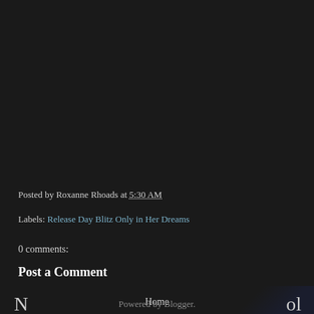Posted by Roxanne Rhoads at 5:30 AM
Labels: Release Day Blitz Only in Her Dreams
0 comments:
Post a Comment
Newer  Home  Older
Subscribe to: Post Comments (Atom)
Powered by Blogger.